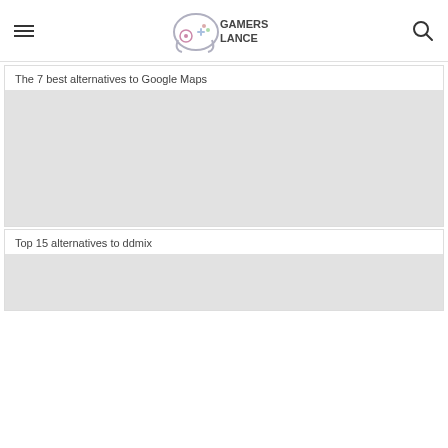Gamers Lance
The 7 best alternatives to Google Maps
[Figure (photo): Article thumbnail image placeholder (gray)]
Top 15 alternatives to ddmix
[Figure (photo): Article thumbnail image placeholder (gray)]